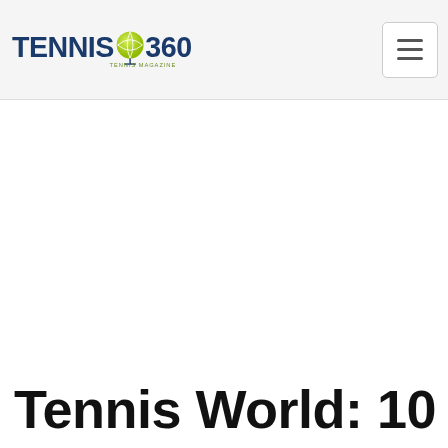Tennis 360 - Tennis Magazine
Tennis World: 10